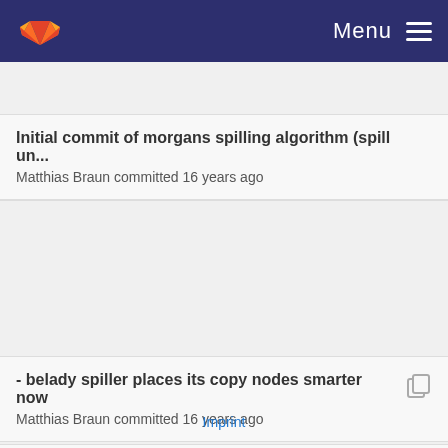Menu
Initial commit of morgans spilling algorithm (spill un...
Matthias Braun committed 16 years ago
- belady spiller places its copy nodes smarter now
Matthias Braun committed 16 years ago
SCHEDULE_PROJS patch: Proj nodes are not mor...
Michael Beck committed 15 years ago
Imprint